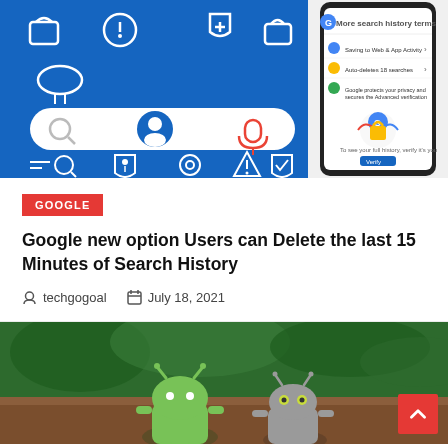[Figure (illustration): Google search security themed banner image split into two parts: left side shows blue background with security/lock icons, a search bar with user avatar and microphone icons; right side shows a smartphone displaying Google search history settings screen with a Google logo padlock illustration.]
GOOGLE
Google new option Users can Delete the last 15 Minutes of Search History
techgogoal   July 18, 2021
[Figure (photo): Photo of Android robot figurines (green Android mascot in foreground and grey robot in background) on a wooden surface with greenery behind.]